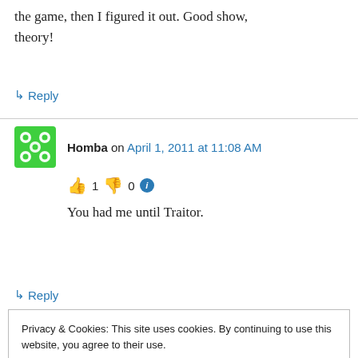the game, then I figured it out. Good show, theory!
↳ Reply
Homba on April 1, 2011 at 11:08 AM
👍 1 👎 0 ℹ
You had me until Traitor.
↳ Reply
Privacy & Cookies: This site uses cookies. By continuing to use this website, you agree to their use.
To find out more, including how to control cookies, see here: Cookie Policy
Close and accept
'Bountiful Harvest' before I headed out the door